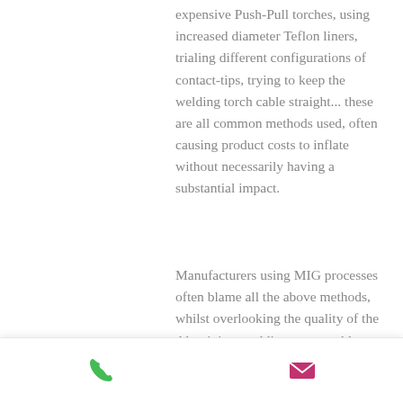expensive Push-Pull torches, using increased diameter Teflon liners, trialing different configurations of contact-tips, trying to keep the welding torch cable straight... these are all common methods used, often causing product costs to inflate without necessarily having a substantial impact.
Manufacturers using MIG processes often blame all the above methods, whilst overlooking the quality of the Aluminium welding consumables themselves.
MSMK training recently performed
[Figure (other): Bottom navigation bar with a green phone icon on the left and a pink/magenta envelope/email icon on the right]